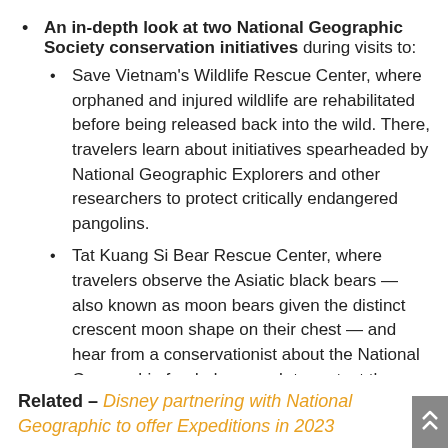An in-depth look at two National Geographic Society conservation initiatives during visits to:
Save Vietnam's Wildlife Rescue Center, where orphaned and injured wildlife are rehabilitated before being released back into the wild. There, travelers learn about initiatives spearheaded by National Geographic Explorers and other researchers to protect critically endangered pangolins.
Tat Kuang Si Bear Rescue Center, where travelers observe the Asiatic black bears — also known as moon bears given the distinct crescent moon shape on their chest — and hear from a conservationist about the National Geographic-funded research to protect these unique animals.
Related – Disney partnering with National Geographic to offer Expeditions in 2023